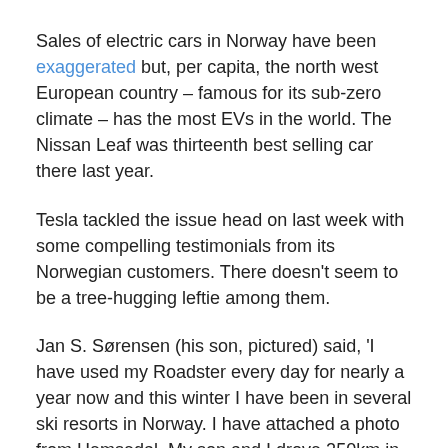Sales of electric cars in Norway have been exaggerated but, per capita, the north west European country – famous for its sub-zero climate – has the most EVs in the world. The Nissan Leaf was thirteenth best selling car there last year.
Tesla tackled the issue head on last week with some compelling testimonials from its Norwegian customers. There doesn't seem to be a tree-hugging leftie among them.
Jan S. Sørensen (his son, pictured) said, 'I have used my Roadster every day for nearly a year now and this winter I have been in several ski resorts in Norway. I have attached a photo from Hemsedal. My son and I drove 250km in –20 C with skis on the skirack and full ski